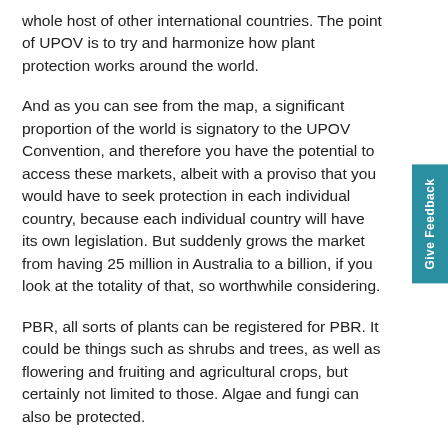whole host of other international countries. The point of UPOV is to try and harmonize how plant protection works around the world.
And as you can see from the map, a significant proportion of the world is signatory to the UPOV Convention, and therefore you have the potential to access these markets, albeit with a proviso that you would have to seek protection in each individual country, because each individual country will have its own legislation. But suddenly grows the market from having 25 million in Australia to a billion, if you look at the totality of that, so worthwhile considering.
PBR, all sorts of plants can be registered for PBR. It could be things such as shrubs and trees, as well as flowering and fruiting and agricultural crops, but certainly not limited to those. Algae and fungi can also be protected.